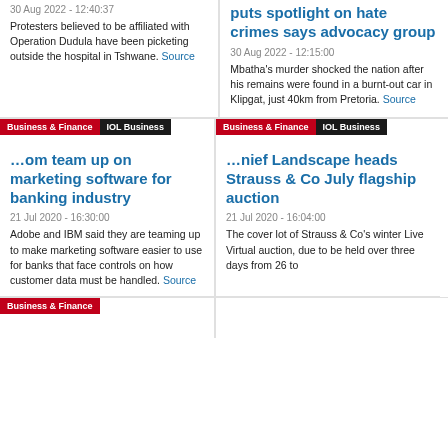30 Aug 2022 - 12:40:37
Protesters believed to be affiliated with Operation Dudula have been picketing outside the hospital in Tshwane. Source
puts spotlight on hate crimes says advocacy group
30 Aug 2022 - 12:15:00
Mbatha's murder shocked the nation after his remains were found in a burnt-out car in Klipgat, just 40km from Pretoria. Source
Business & Finance | IOL Business
... team up on marketing software for banking industry
21 Jul 2020 - 16:30:00
Adobe and IBM said they are teaming up to make marketing software easier to use for banks that face controls on how customer data must be handled. Source
Business & Finance | IOL Business
... Landscape heads Strauss & Co July flagship auction
21 Jul 2020 - 16:04:00
The cover lot of Strauss & Co's winter Live Virtual auction, due to be held over three days from 26 to
Business & Finance